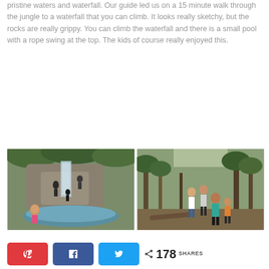pristine waters and waterfall.  Our guide led us on a 15 minute walk through the jungle to a waterfall that you can climb.  It looks really sketchy, but the rocks are really grippy.  You can climb the waterfall and there is a small pool with a rope swing at the top.  The kids of course really enjoyed this.
[Figure (photo): Two side-by-side photos: left shows people climbing a rocky waterfall in a jungle setting with a child wading in water at front; right shows a group of children and adults hiking through a forest trail.]
Share buttons: Pinterest, Facebook, Twitter. 178 SHARES